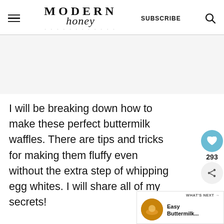MODERN honey — SUBSCRIBE
[Figure (other): Blank/advertisement placeholder area]
I will be breaking down how to make these perfect buttermilk waffles. There are tips and tricks for making them fluffy even without the extra step of whipping egg whites. I will share all of my secrets!